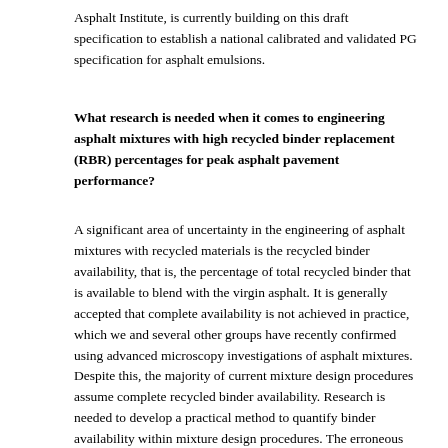Asphalt Institute, is currently building on this draft specification to establish a national calibrated and validated PG specification for asphalt emulsions.
What research is needed when it comes to engineering asphalt mixtures with high recycled binder replacement (RBR) percentages for peak asphalt pavement performance?
A significant area of uncertainty in the engineering of asphalt mixtures with recycled materials is the recycled binder availability, that is, the percentage of total recycled binder that is available to blend with the virgin asphalt. It is generally accepted that complete availability is not achieved in practice, which we and several other groups have recently confirmed using advanced microscopy investigations of asphalt mixtures. Despite this, the majority of current mixture design procedures assume complete recycled binder availability. Research is needed to develop a practical method to quantify binder availability within mixture design procedures. The erroneous assumption of complete blending may lead to an underestimation of the required virgin asphalt binder during volumetric mixture design and consequently may yield mixtures with poor durability.